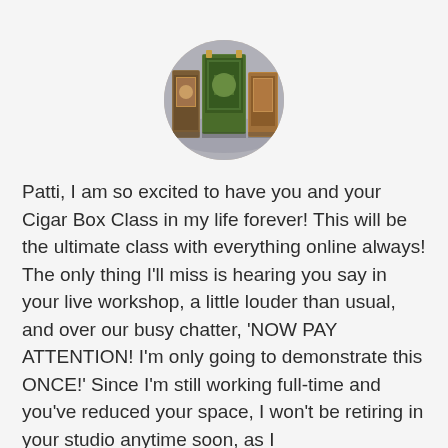[Figure (photo): Circular profile photo showing decorated cigar boxes or art books arranged on a surface, viewed from slightly above.]
Patti, I am so excited to have you and your Cigar Box Class in my life forever! This will be the ultimate class with everything online always! The only thing I'll miss is hearing you say in your live workshop, a little louder than usual, and over our busy chatter, 'NOW PAY ATTENTION! I'm only going to demonstrate this ONCE!' Since I'm still working full-time and you've reduced your space, I won't be retiring in your studio anytime soon, as I had thought. This is the next best thing to being there!